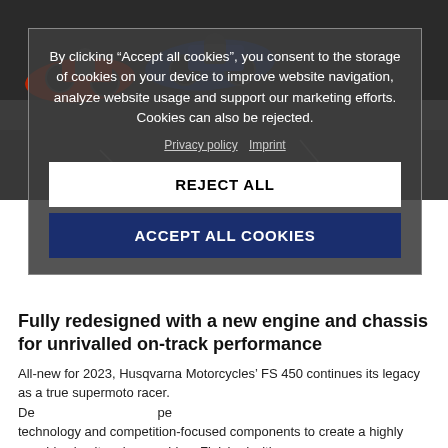[Figure (photo): Motorcycles racing on a track, partial view from above showing red and blue motorcycles on dark asphalt]
By clicking “Accept all cookies”, you consent to the storage of cookies on your device to improve website navigation, analyze website usage and support our marketing efforts. Cookies can also be rejected.
Privacy policy  Imprint
REJECT ALL
ACCEPT ALL COOKIES
Fully redesigned with a new engine and chassis for unrivalled on-track performance
All-new for 2023, Husqvarna Motorcycles’ FS 450 continues its legacy as a true supermoto racer. Developed with class-leading racing DNA and performance at its core...technology and competition-focused components to create a highly capable circuit racing machine. Finished with new